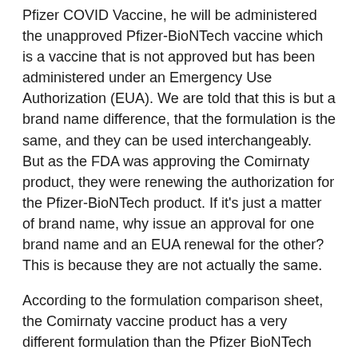Pfizer COVID Vaccine, he will be administered the unapproved Pfizer-BioNTech vaccine which is a vaccine that is not approved but has been administered under an Emergency Use Authorization (EUA). We are told that this is but a brand name difference, that the formulation is the same, and they can be used interchangeably. But as the FDA was approving the Comirnaty product, they were renewing the authorization for the Pfizer-BioNTech product. If it’s just a matter of brand name, why issue an approval for one brand name and an EUA renewal for the other? This is because they are not actually the same.
According to the formulation comparison sheet, the Comirnaty vaccine product has a very different formulation than the Pfizer BioNTech product–on a per 30 μg dose basis for instance, it contains 25 percent more SARS-CoV-2 spike glycoprotein mRNA, 34 percent more polyethylene glycol, 1070 percent more potassium chloride, as well as an ingredient listed only as “Redacted